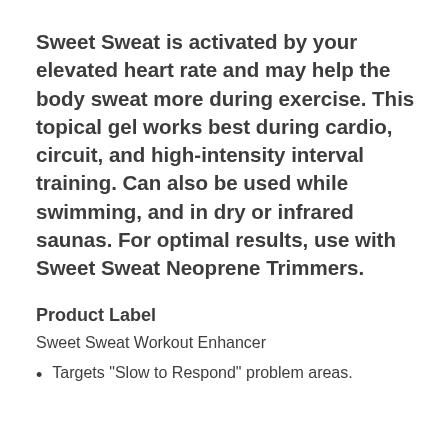Sweet Sweat is activated by your elevated heart rate and may help the body sweat more during exercise. This topical gel works best during cardio, circuit, and high-intensity interval training. Can also be used while swimming, and in dry or infrared saunas. For optimal results, use with Sweet Sweat Neoprene Trimmers.
Product Label
Sweet Sweat Workout Enhancer
Targets "Slow to Respond" problem areas.